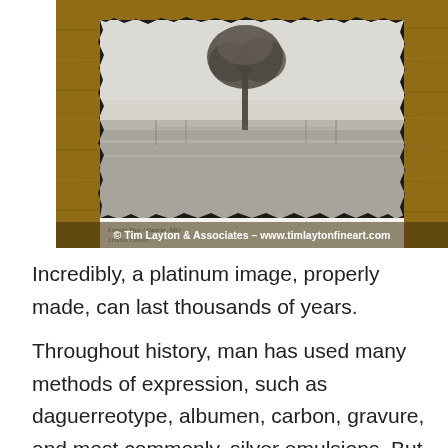[Figure (photo): A framed black-and-white photograph of a lone tree in a misty field, displayed in a rustic wooden frame. The photo has deckled/torn black edges. A watermark reads '© Tim Layton & Associates - www.timlaytonfineart.com' at the bottom of the image.]
Incredibly, a platinum image, properly made, can last thousands of years.
Throughout history, man has used many methods of expression, such as daguerreotype, albumen, carbon, gravure, and most commonly, silver emulsions. But for master photographers, platinum has always held a special place